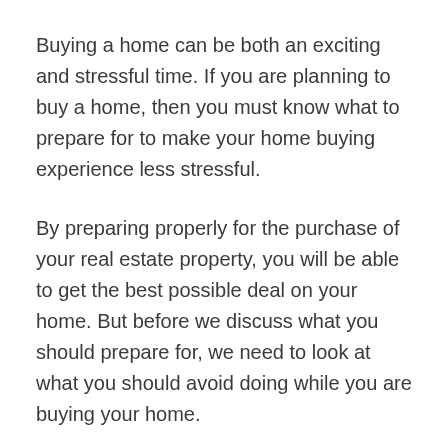Buying a home can be both an exciting and stressful time. If you are planning to buy a home, then you must know what to prepare for to make your home buying experience less stressful.
By preparing properly for the purchase of your real estate property, you will be able to get the best possible deal on your home. But before we discuss what you should prepare for, we need to look at what you should avoid doing while you are buying your home.
Avoid buying homes in areas that are known for flooding. This is something that many homeowners make sure to do, but if for some reason your home is in an area that is prone to flooding, it could end up